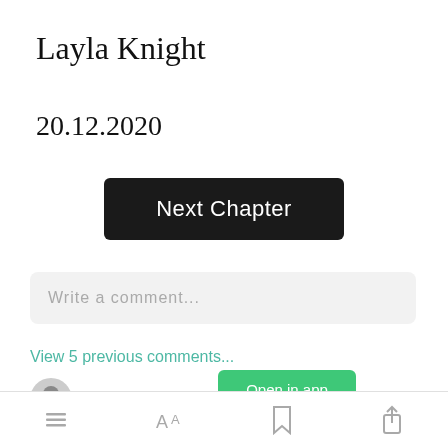Layla Knight
20.12.2020
Next Chapter
Write a comment...
View 5 previous comments...
Open in app
Samantha
[toolbar icons: list, font, bookmark, share]